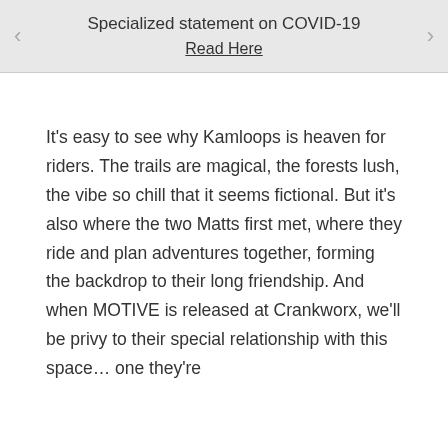Specialized statement on COVID-19
Read Here
It's easy to see why Kamloops is heaven for riders. The trails are magical, the forests lush, the vibe so chill that it seems fictional. But it's also where the two Matts first met, where they ride and plan adventures together, forming the backdrop to their long friendship. And when MOTIVE is released at Crankworx, we'll be privy to their special relationship with this space… one they're